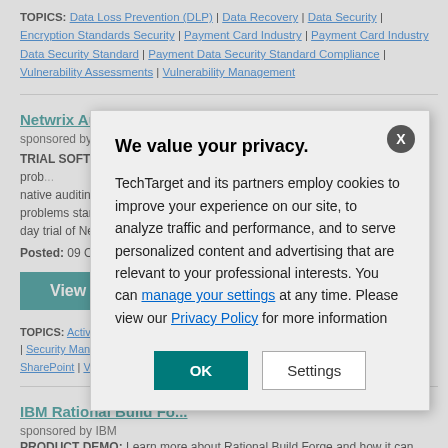TOPICS: Data Loss Prevention (DLP) | Data Recovery | Data Security | Encryption Standards Security | Payment Card Industry | Payment Card Industry Data Security Standard | Payment Data Security Standard Compliance | Vulnerability Assessments | Vulnerability Management
Netwrix Auditor Enterprise Edition
sponsored by Netwrix Corporation
TRIAL SOFTWARE: When diagnosing the cause of your Active Directory problems, native auditing won't tell you what happened before the problems started. Netwrix Auditor offers a 20-day trial of Netwrix Auditor...
Posted: 09 Oct 201...
View Now
TOPICS: Active Directory | HIPAA | Risk Management | Security Managers | SharePoint | VMware
IBM Rational Build Forge
sponsored by IBM
PRODUCT DEMO: Learn more about Rational Build Forge and how it can help...
[Figure (screenshot): Privacy consent modal dialog overlay on a TechTarget webpage. The modal reads 'We value your privacy.' with text about cookies and a link to manage settings and Privacy Policy. Buttons: OK (teal) and Settings (gray outline).]